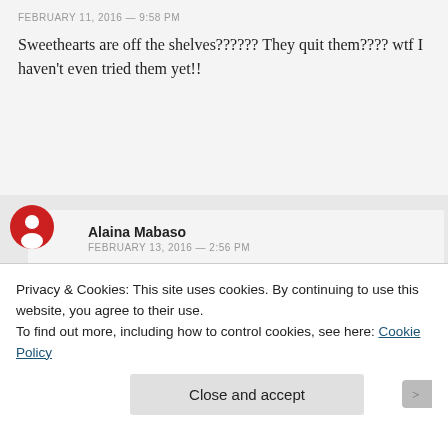FEBRUARY 11, 2016 — 9:58 PM
Sweethearts are off the shelves?????? They quit them???? wtf I haven't even tried them yet!!
Alaina Mabaso
FEBRUARY 13, 2016 — 2:56 PM
The agony.
Privacy & Cookies: This site uses cookies. By continuing to use this website, you agree to their use.
To find out more, including how to control cookies, see here: Cookie Policy
Close and accept